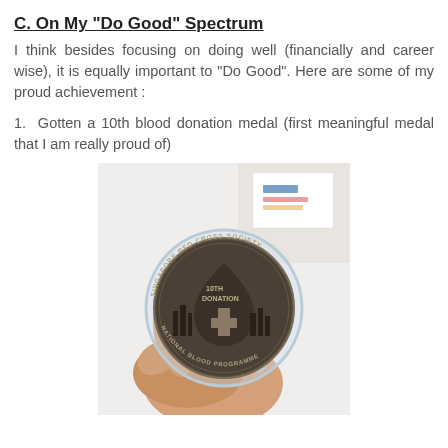C. On My "Do Good" Spectrum
I think besides focusing on doing well (financially and career wise), it is equally important to "Do Good". Here are some of my proud achievement :
1.  Gotten a 10th blood donation medal (first meaningful medal that I am really proud of)
[Figure (photo): A hand holding a Singapore Red Cross Society National Blood Programme 10th Donation commemorative coin/medal, displayed in a clear plastic case. The coin is dark bronze/pewter colored with a blood drop and cross motif in the center, surrounded by text reading 'SINGAPORE RED CROSS SOCIETY' and 'NATIONAL BLOOD PROGRAMME', with '10TH DONATION' inscribed. Background shows a white desk surface with some papers.]